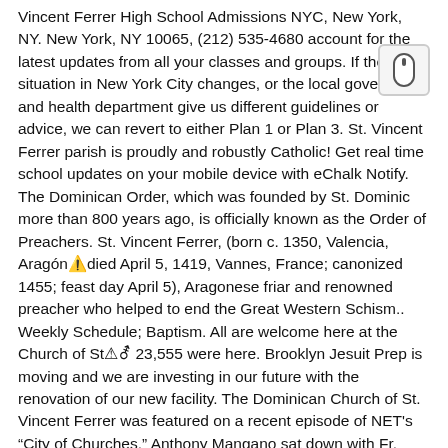Vincent Ferrer High School Admissions NYC, New York, NY. New York, NY 10065, (212) 535-4680 account for the latest updates from all your classes and groups. If the situation in New York City changes, or the local government and health department give us different guidelines or advice, we can revert to either Plan 1 or Plan 3. St. Vincent Ferrer parish is proudly and robustly Catholic! Get real time school updates on your mobile device with eChalk Notify. The Dominican Order, which was founded by St. Dominic more than 800 years ago, is officially known as the Order of Preachers. St. Vincent Ferrer, (born c. 1350, Valencia, Aragón—died April 5, 1419, Vannes, France; canonized 1455; feast day April 5), Aragonese friar and renowned preacher who helped to end the Great Western Schism.. Weekly Schedule; Baptism. All are welcome here at the Church of St… 23,555 were here. Brooklyn Jesuit Prep is moving and we are investing in our future with the renovation of our new facility. The Dominican Church of St. Vincent Ferrer was featured on a recent episode of NET's "City of Churches." Anthony Mangano sat down with Fr. Today, we prepare young women from diverse backgrounds for college and a lifetime of learning. Information on godparents; Baptism Process Summary; Reconciliation; First Holy Communion; Confirmation; Matrimony. Electronic Giving is now available. The first school was built in 1884 and was staffed by the Dominican Sisters of Saint Mary of the Springs. The two excellent parts of Ferrer are the faculty and the student body. Donate Online!